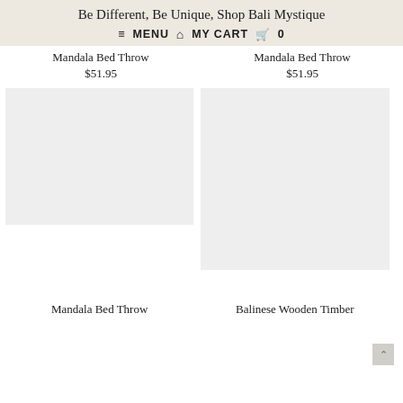Be Different, Be Unique, Shop Bali Mystique
≡ MENU  ⌂  MY CART  🛒  0
Mandala Bed Throw
$51.95
Mandala Bed Throw
$51.95
[Figure (photo): Product image placeholder - light grey rectangle for Mandala Bed Throw]
[Figure (photo): Product image placeholder - light grey rectangle for Balinese Wooden Timber product]
Mandala Bed Throw
Balinese Wooden Timber